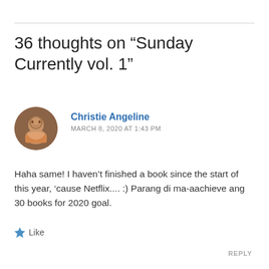36 thoughts on “Sunday Currently vol. 1”
Christie Angeline
MARCH 8, 2020 AT 1:43 PM
Haha same! I haven’t finished a book since the start of this year, ‘cause Netflix.... :) Parang di ma-aachieve ang 30 books for 2020 goal.
Like
REPLY